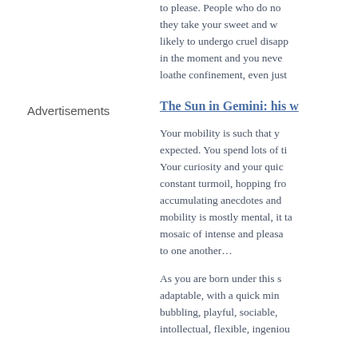to please. People who do not know they take your sweet and w... likely to undergo cruel disapp... in the moment and you neve... loathe confinement, even just...
Advertisements
The Sun in Gemini: his w...
Your mobility is such that y... expected. You spend lots of ti... Your curiosity and your quic... constant turmoil, hopping fr... accumulating anecdotes and ... mobility is mostly mental, it ta... mosaic of intense and pleasa... to one another…
As you are born under this s... adaptable, with a quick min... bubbling, playful, sociable, ... intollectual, flexible, ingeniou...